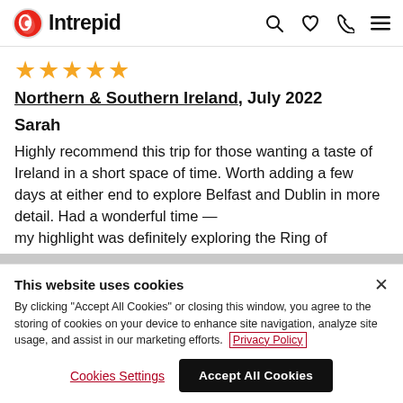Intrepid
[Figure (other): Star rating: 4 out of 5 gold stars]
Northern & Southern Ireland, July 2022
Sarah
Highly recommend this trip for those wanting a taste of Ireland in a short space of time. Worth adding a few days at either end to explore Belfast and Dublin in more detail. Had a wonderful time — my highlight was definitely exploring the Ring of
This website uses cookies
By clicking "Accept All Cookies" or closing this window, you agree to the storing of cookies on your device to enhance site navigation, analyze site usage, and assist in our marketing efforts. Privacy Policy
Cookies Settings | Accept All Cookies